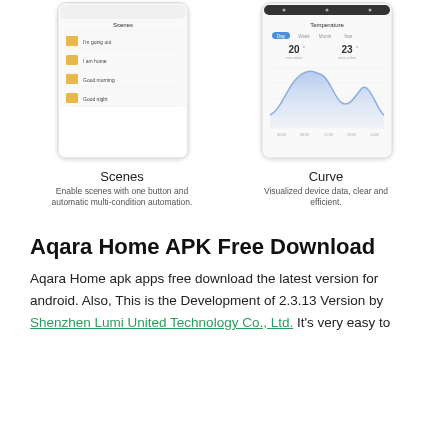[Figure (screenshot): Scenes phone screenshot showing app UI with list of scenes (I'm going out, I am home, Good morning, Good night) with yellow folder icons]
Scenes
Enable scenes with one button and automatic multi-condition automation.
[Figure (screenshot): Curve phone screenshot showing temperature graph with blue area chart and values 20 and 23 displayed, with filter tabs: Day, Week, Month, Year]
Curve
Visualized device data, clear and efficient.
Aqara Home APK Free Download
Aqara Home apk apps free download the latest version for android. Also, This is the Development of 2.3.13 Version by Shenzhen Lumi United Technology Co., Ltd. It's very easy to